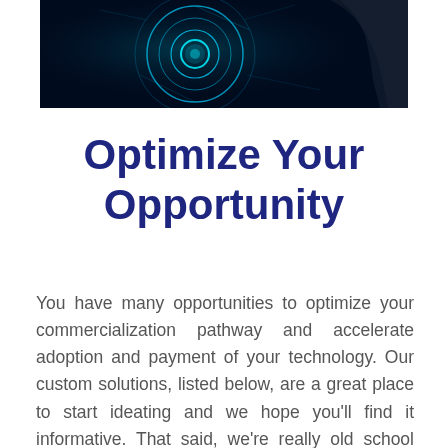[Figure (photo): Dark background photo with glowing blue circular/digital graphics and a partial hand, technology-themed image cropped at top]
Optimize Your Opportunity
You have many opportunities to optimize your commercialization pathway and accelerate adoption and payment of your technology.  Our custom solutions, listed below, are a great place to start ideating and we hope you'll find it informative.  That said, we're really old school and what